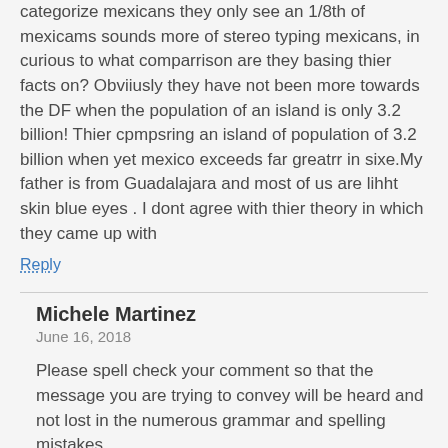categorize mexicans they only see an 1/8th of mexicams sounds more of stereo typing mexicans, in curious to what comparrison are they basing thier facts on? Obviiusly they have not been more towards the DF when the population of an island is only 3.2 billion! Thier cpmpsring an island of population of 3.2 billion when yet mexico exceeds far greatrr in sixe.My father is from Guadalajara and most of us are lihht skin blue eyes . I dont agree with thier theory in which they came up with
Reply
Michele Martinez
June 16, 2018
Please spell check your comment so that the message you are trying to convey will be heard and not lost in the numerous grammar and spelling mistakes.
Reply